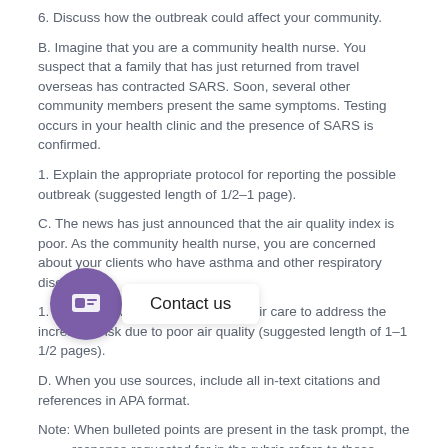6. Discuss how the outbreak could affect your community.
B. Imagine that you are a community health nurse. You suspect that a family that has just returned from travel overseas has contracted SARS. Soon, several other community members present the same symptoms. Testing occurs in your health clinic and the presence of SARS is confirmed.
1. Explain the appropriate protocol for reporting the possible outbreak (suggested length of 1/2–1 page).
C. The news has just announced that the air quality index is poor. As the community health nurse, you are concerned about your clients who have asthma and other respiratory diseases.
1. Discuss how you would modify their care to address the increased risk due to poor air quality (suggested length of 1–1 1/2 pages).
D. When you use sources, include all in-text citations and references in APA format.
Note: When bulleted points are present in the task prompt, the response requested for in the rubric refers to those bulleted points.
Note: For definitions of terms commonly used in the rubric, see